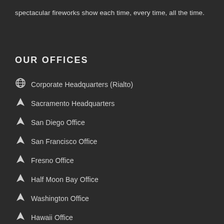spectacular fireworks show each time, every time, all the time.
OUR OFFICES
Corporate Headquarters (Rialto)
Sacramento Headquarters
San Diego Office
San Francisco Office
Fresno Office
Half Moon Bay Office
Washington Office
Hawaii Office